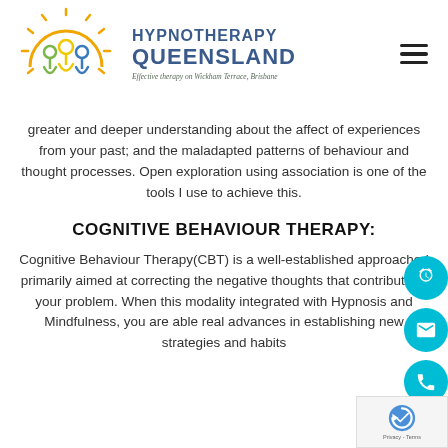[Figure (logo): Hypnotherapy Queensland logo with sun and human figure icons, text reading HYPNOTHERAPY QUEENSLAND, Effective therapy on Wickham Terrace, Brisbane]
greater and deeper understanding about the affect of experiences from your past; and the maladapted patterns of behaviour and thought processes. Open exploration using association is one of the tools I use to achieve this.
COGNITIVE BEHAVIOUR THERAPY:
Cognitive Behaviour Therapy(CBT) is a well-established approached primarily aimed at correcting the negative thoughts that contribute to your problem. When this modality integrated with Hypnosis and Mindfulness, you are able real advances in establishing new strategies and habits